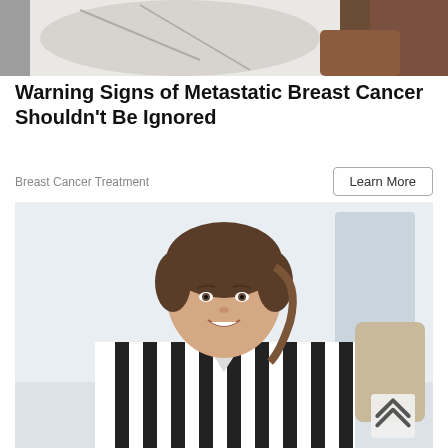[Figure (photo): Partial view of a person in white coat, top portion cropped]
Warning Signs of Metastatic Breast Cancer Shouldn't Be Ignored
Breast Cancer Treatment
Learn More
[Figure (photo): Smiling young woman with dark hair in updo, wearing a black and white striped shirt, seated in a bright office setting]